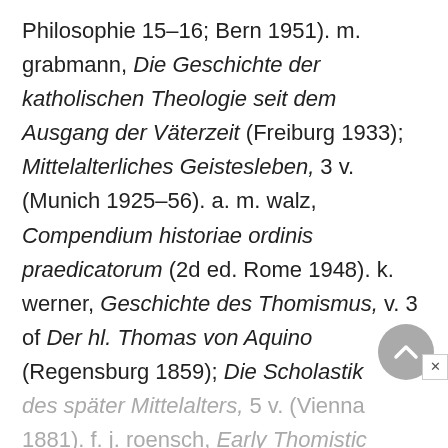Philosophie 15–16; Bern 1951). m. grabmann, Die Geschichte der katholischen Theologie seit dem Ausgang der Väterzeit (Freiburg 1933); Mittelalterliches Geistesleben, 3 v. (Munich 1925–56). a. m. walz, Compendium historiae ordinis praedicatorum (2d ed. Rome 1948). k. werner, Geschichte des Thomismus, v. 3 of Der hl. Thomas von Aquino (Regensburg 1859); Die Scholastik des später Mittelalters, 5 v. (Vienna 1881). f. j. roensch, Early Thomistic